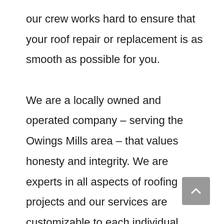our crew works hard to ensure that your roof repair or replacement is as smooth as possible for you.

We are a locally owned and operated company – serving the Owings Mills area – that values honesty and integrity. We are experts in all aspects of roofing projects and our services are customizable to each individual project. We specialize in both roof installations and roof replacements. We pride ourselves on the quality of our work, as well as our commitment to outstanding results. We look forward to building the relationship through our...